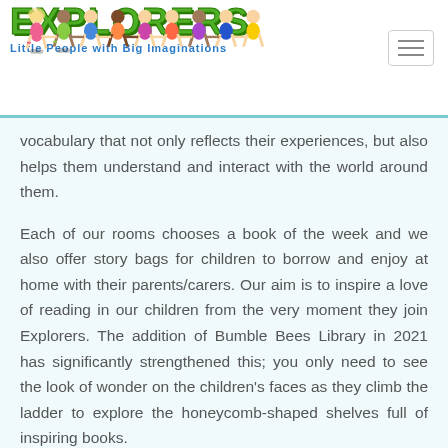[Figure (logo): Explorers childcare logo with cartoon children figures above the word EXPLORERS in green block letters, tagline: Little People with Big Imaginations]
vocabulary that not only reflects their experiences, but also helps them understand and interact with the world around them.
Each of our rooms chooses a book of the week and we also offer story bags for children to borrow and enjoy at home with their parents/carers. Our aim is to inspire a love of reading in our children from the very moment they join Explorers. The addition of Bumble Bees Library in 2021 has significantly strengthened this; you only need to see the look of wonder on the children's faces as they climb the ladder to explore the honeycomb-shaped shelves full of inspiring books.